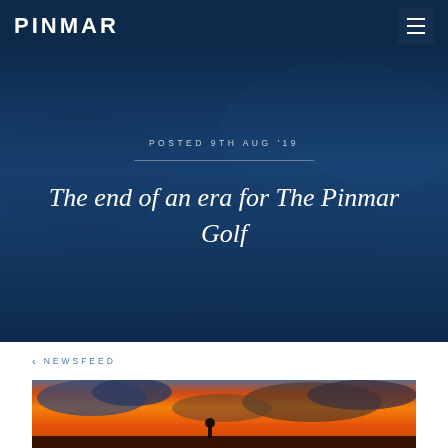PINMAR
POSTED 9TH AUG '19
The end of an era for The Pinmar Golf
< NEWSFEED
[Figure (photo): Sunset landscape photo with warm orange and red sky and dramatic clouds, silhouette of a golfer visible at bottom]